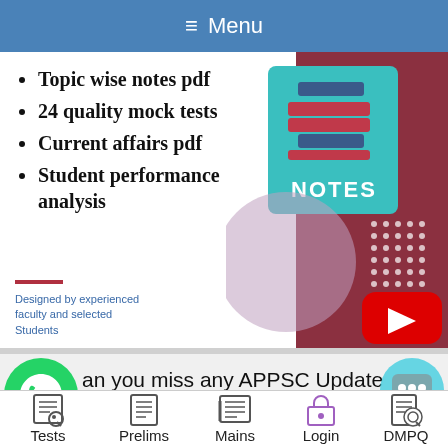≡ Menu
Topic wise notes pdf
24 quality mock tests
Current affairs pdf
Student performance analysis
Designed by experienced faculty and selected Students
[Figure (illustration): Educational notes graphic with teal NOTES label, stacked books icon, rose/mauve decorative circles and dark red geometric shapes, with a YouTube play button in the lower right corner]
an you miss any APPSC Update
Tests   Prelims   Mains   Login   DMPQ